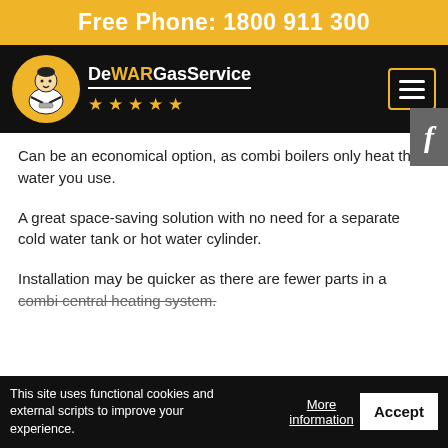Free Phone: 1800 911 300
[Figure (logo): DeWAR Gas Service logo with plumber illustration and five gold stars on black navigation bar]
Can be an economical option, as combi boilers only heat the water you use.
A great space-saving solution with no need for a separate cold water tank or hot water cylinder.
Installation may be quicker as there are fewer parts in a combi central heating system.
This site uses functional cookies and external scripts to improve your experience.